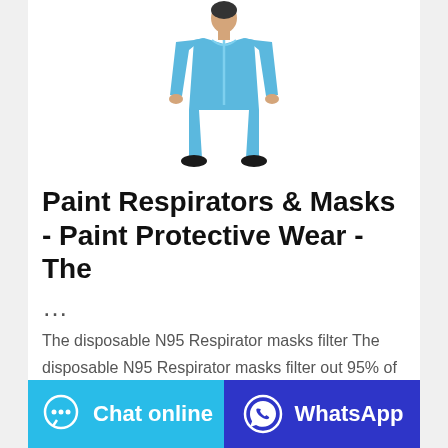[Figure (photo): Person wearing a blue disposable protective coverall suit, full body, standing upright with arms at sides, wearing dark shoes.]
Paint Respirators & Masks - Paint Protective Wear - The
...
The disposable N95 Respirator masks filter The disposable N95 Respirator masks filter out 95% of airborne particles and are NIOSH approved. The masks offer medium/large full-face coverage with 2 headband